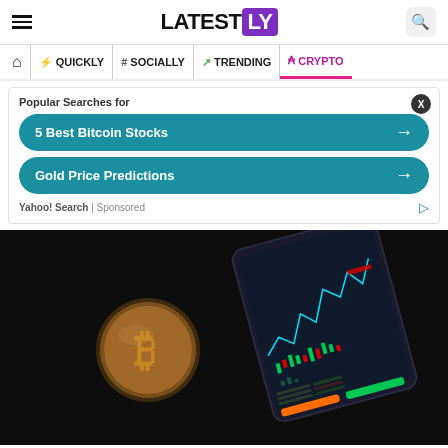LATEST LY — navigation header with hamburger menu and search
QUICKLY | # SOCIALLY | TRENDING | CRYPTO
[Figure (screenshot): Yahoo! Search sponsored ad box with 'Popular Searches for' header and two teal buttons: '5 Best Bitcoin Stocks' and 'Gold Price Predictions', with close (X) button and Yahoo! Search | Sponsored footer]
[Figure (photo): Dark background photo showing a Bitcoin physical coin and a smartphone displaying a cryptocurrency trading chart with candlestick/line data and colored price indicators]